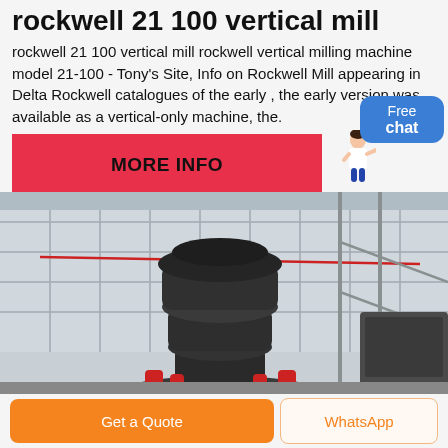rockwell 21 100 vertical mill
rockwell 21 100 vertical mill rockwell vertical milling machine model 21-100 - Tony's Site, Info on Rockwell Mill appearing in Delta Rockwell catalogues of the early , the early version was available as a vertical-only machine, the.
[Figure (other): Red banner button labeled MORE INFO, with a customer service avatar and blue Free chat bubble in the top right corner]
[Figure (photo): Industrial vertical mill machine (large dark grey crusher/mill equipment) inside a large factory building with glass panel walls and steel framework]
[Figure (other): Bottom action bar with orange Get a Quote button on the left and WhatsApp button on the right]